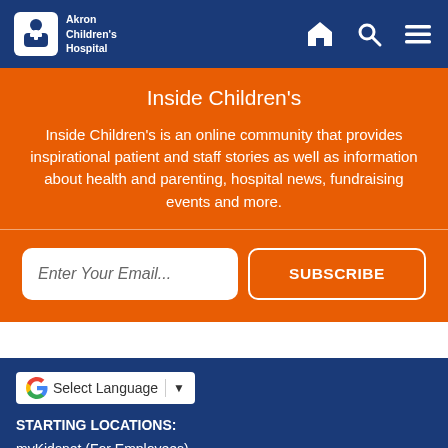Akron Children's Hospital
Inside Children’s
Inside Children’s is an online community that provides inspirational patient and staff stories as well as information about health and parenting, hospital news, fundraising events and more.
Enter Your Email... SUBSCRIBE
Select Language STARTING LOCATIONS: myKidsnet (For Employees)